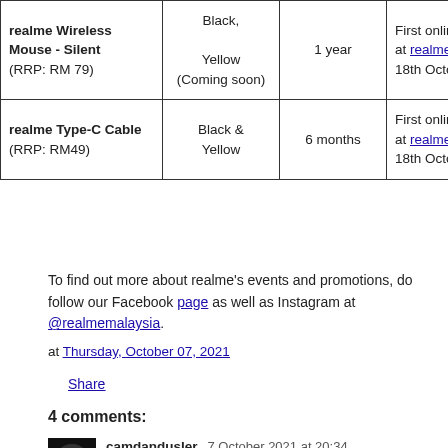| Product | Colors | Warranty | Availability |
| --- | --- | --- | --- |
| realme Wireless Mouse - Silent
(RRP: RM 79) | Black,
Yellow (Coming soon) | 1 year | First online at realme's 18th Octo... |
| realme Type-C Cable
(RRP: RM49) | Black & Yellow | 6 months | First online at realme's 18th Octo... |
To find out more about realme's events and promotions, do follow our Facebook page as well as Instagram at @realmemalaysia.
at Thursday, October 07, 2021
Share
4 comments:
camdandusler 7 October 2021 at 20:34
Thanks for your review...